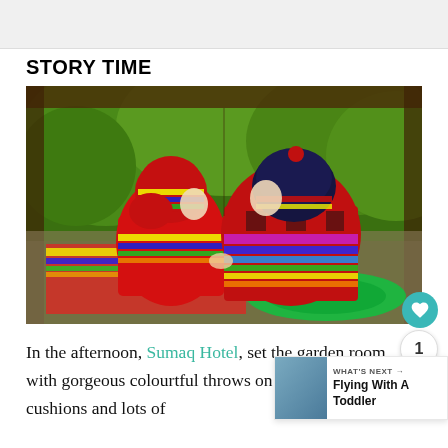STORY TIME
[Figure (photo): Two children sitting on a colorful blanket on the floor, wearing traditional Andean ponchos and knitted hats in bright rainbow colors, playing together inside a wooden-framed room with green trees visible through large windows in the background. A like button (heart), count (1), and share button are overlaid on the photo.]
In the afternoon, Sumaq Hotel, set the garden room with gorgeous colourful throws on the floor, big cushions and lots of
[Figure (screenshot): WHAT'S NEXT overlay widget with thumbnail image and text 'Flying With A Toddler']